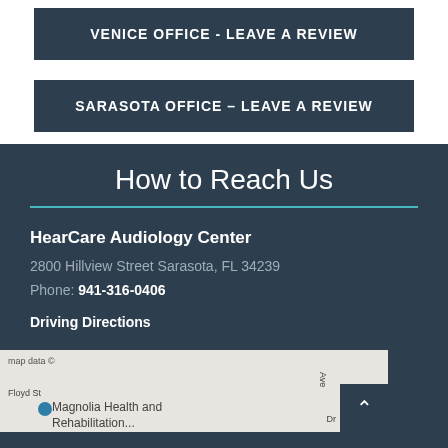VENICE OFFICE - LEAVE A REVIEW
SARASOTA OFFICE - LEAVE A REVIEW
How to Reach Us
HearCare Audiology Center
2800 Hillview Street Sarasota, FL 34239
Phone: 941-316-0406
Driving Directions
[Figure (map): Google Map showing location near Magnolia Health and Rehabilitation Center, with Floyd St visible and a location pin marker]